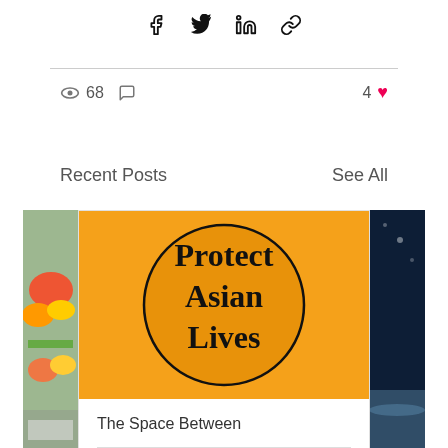[Figure (screenshot): Social share icons row: Facebook, Twitter, LinkedIn, link/chain icon]
68 views, 0 comments, 4 likes
Recent Posts
See All
[Figure (illustration): Left partial card showing a food market photo]
[Figure (photo): Center card with orange background showing a circle with text 'Protect Asian Lives' in bold serif font]
The Space Between
125 views, 0 comments, 9 likes
[Figure (photo): Right partial card showing a dark blue ocean/night sky photo]